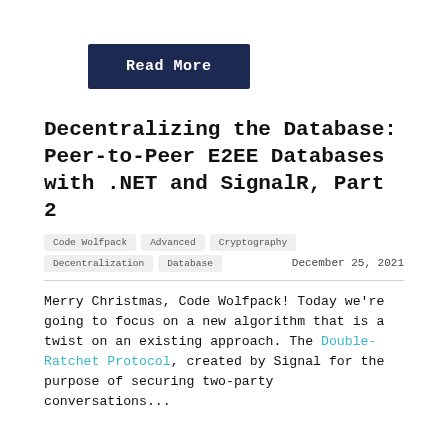Read More
Decentralizing the Database: Peer-to-Peer E2EE Databases with .NET and SignalR, Part 2
Code Wolfpack | Advanced | Cryptography | Decentralization | Database | December 25, 2021
Merry Christmas, Code Wolfpack! Today we're going to focus on a new algorithm that is a twist on an existing approach. The Double-Ratchet Protocol, created by Signal for the purpose of securing two-party conversations...